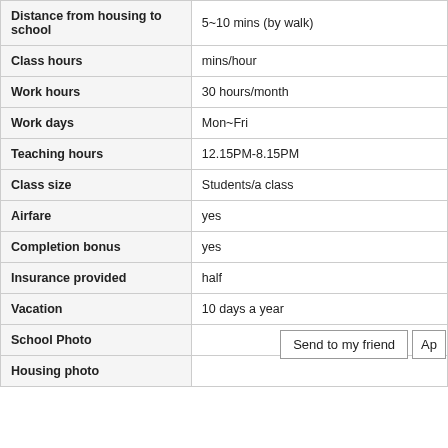| Field | Value |
| --- | --- |
| Distance from housing to school | 5~10 mins (by walk) |
| Class hours | mins/hour |
| Work hours | 30 hours/month |
| Work days | Mon~Fri |
| Teaching hours | 12.15PM-8.15PM |
| Class size | Students/a class |
| Airfare | yes |
| Completion bonus | yes |
| Insurance provided | half |
| Vacation | 10 days a year |
| School Photo |  |
| Housing photo |  |
Send to my friend
Ap